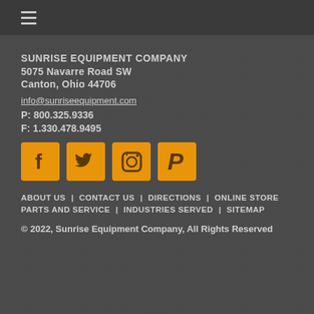≡ (hamburger menu)
SUNRISE EQUIPMENT COMPANY
5075 Navarre Road SW
Canton, Ohio 44706
info@sunriseequipment.com
P: 800.325.9336
F: 1.330.478.9495
[Figure (logo): Four orange social media icon buttons: Facebook (f), Twitter (bird), Instagram (camera), Pinterest (P)]
ABOUT US   CONTACT US   DIRECTIONS   ONLINE STORE
PARTS AND SERVICE   INDUSTRIES SERVED   SITEMAP
© 2022, Sunrise Equipment Company, All Rights Reserved